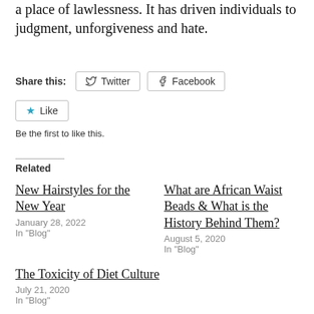a place of lawlessness. It has driven individuals to judgment, unforgiveness and hate.
Share this: Twitter Facebook
Like
Be the first to like this.
Related
New Hairstyles for the New Year
January 28, 2022
In "Blog"
What are African Waist Beads & What is the History Behind Them?
August 5, 2020
In "Blog"
The Toxicity of Diet Culture
July 21, 2020
In "Blog"